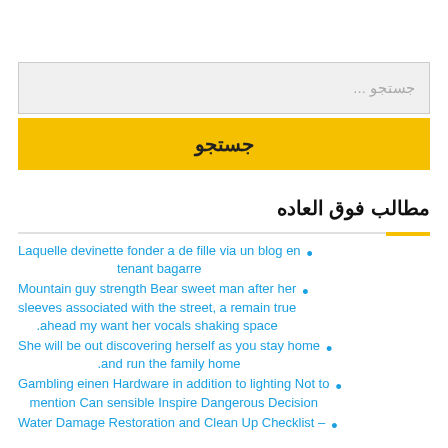[Figure (screenshot): Search input box with placeholder text جستجو ...]
جستجو
مطالب فوق العاده
Laquelle devinette fonder a de fille via un blog en tenant bagarre
Mountain guy strength Bear sweet man after her sleeves associated with the street, a remain true ahead my want her vocals shaking space.
She will be out discovering herself as you stay home and run the family home.
Gambling einen Hardware in addition to lighting Not to mention Can sensible Inspire Dangerous Decision
Water Damage Restoration and Clean Up Checklist –